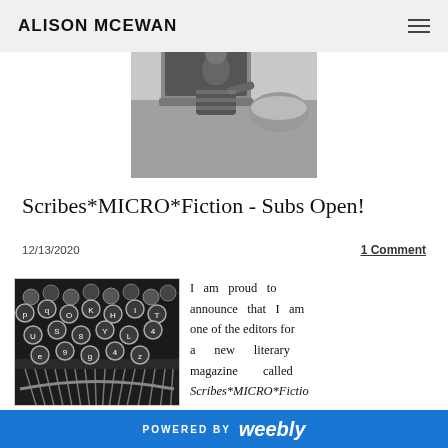ALISON MCEWAN
[Figure (photo): Black and white photo of a young child sitting at a laptop computer, with a large bowl nearby]
Scribes*MICRO*Fiction - Subs Open!
12/13/2020
1 Comment
[Figure (photo): Black and white close-up photo of typewriter keys]
I am proud to announce that I am one of the editors for a new literary magazine called Scribes*MICRO*Fictio
POWERED BY weebly